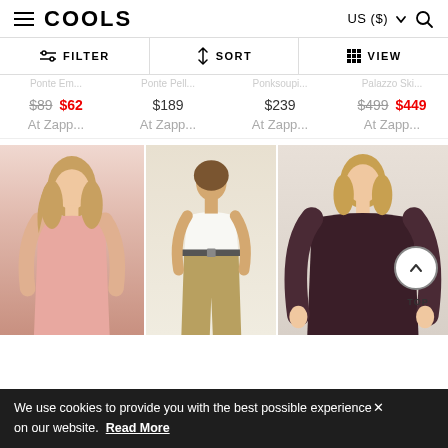COOLS — US ($) navigation header with hamburger menu and search icon
FILTER | SORT | VIEW toolbar
Partially visible product names row (truncated)
Prices: $89 $62 | $189 | $239 | $499 $449
At Zapp... | At Zapp... | At Zapp... | At Zapp...
[Figure (photo): Three fashion model photos: woman in pink sleeveless dress, woman in khaki pants, woman in dark maroon long-sleeve dress]
We use cookies to provide you with the best possible experience× on our website.  Read More